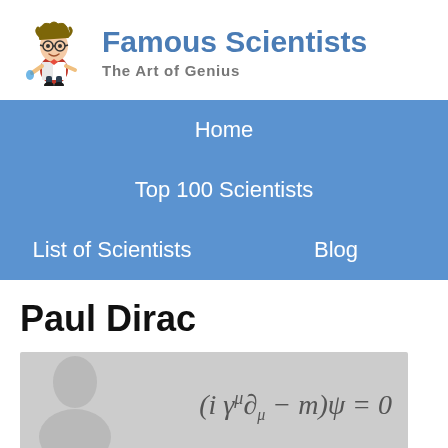[Figure (logo): Cartoon scientist mascot logo for Famous Scientists website]
Famous Scientists
The Art of Genius
Home
Top 100 Scientists
List of Scientists
Blog
Paul Dirac
[Figure (math-figure): Paul Dirac image with the Dirac equation: (i gamma^mu partial_mu - m) psi = 0]